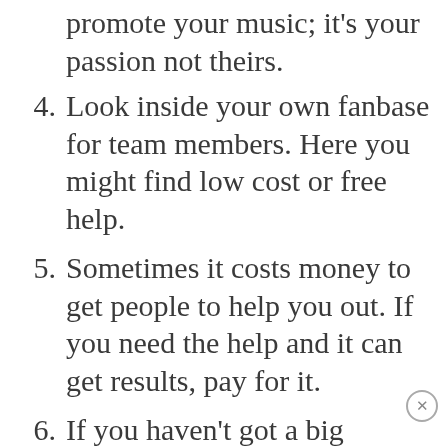promote your music; it's your passion not theirs.
4. Look inside your own fanbase for team members. Here you might find low cost or free help.
5. Sometimes it costs money to get people to help you out. If you need the help and it can get results, pay for it.
6. If you haven't got a big budget, use people on a 'as needed' basis. You don't need to hire people full time.
7. Use outsourcing websites such as Odesk. Here you can get people to